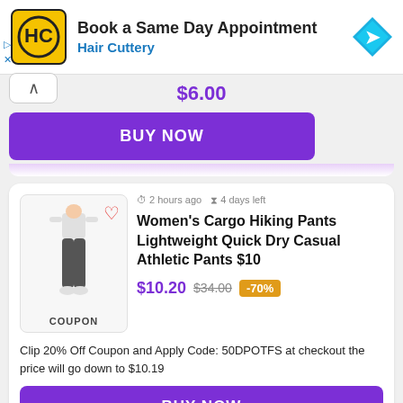[Figure (screenshot): Hair Cuttery advertisement banner with yellow logo, 'Book a Same Day Appointment' headline, 'Hair Cuttery' subtitle in blue, and a blue navigation arrow icon on the right.]
$6.00
BUY NOW
2 hours ago   4 days left
Women's Cargo Hiking Pants Lightweight Quick Dry Casual Athletic Pants $10
$10.20  $34.00  -70%
Clip 20% Off Coupon and Apply Code: 50DPOTFS at checkout the price will go down to $10.19
BUY NOW